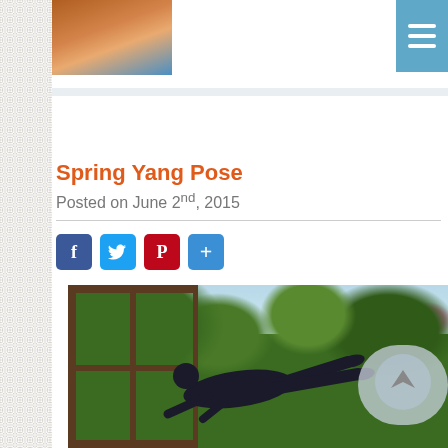[Figure (photo): Profile photo of a person in orange/yellow outfit near water, shown in top left corner]
[Figure (screenshot): Hamburger menu icon (three horizontal lines) in blue square, top right corner]
Spring Yang Pose
Posted on June 2nd, 2015
[Figure (infographic): Social share buttons: Facebook (f), Twitter (bird), Pinterest (P), and a plus/share button]
[Figure (photo): Yoga practitioner performing an arm balance pose (likely flying pigeon or similar), viewed through large wooden-framed windows overlooking a lush green tropical garden with pink flowering bougainvillea. Person is dressed in dark clothing, balancing on hands on a wooden deck floor.]